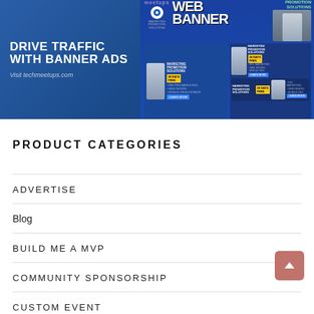[Figure (illustration): Web banner advertisement image for techmeetups.com showing 'DRIVE TRAFFIC WITH BANNER ADS' on the left side on a blue background, and multiple web banner examples on the right including WEB BANNER, MARKETING PROMOTION SOLUTIONS, with a woman's photo and various ad layouts. Includes 'Visit techmeetups.com' text.]
PRODUCT CATEGORIES
ADVERTISE
Blog
BUILD ME A MVP
COMMUNITY SPONSORSHIP
CUSTOM EVENT